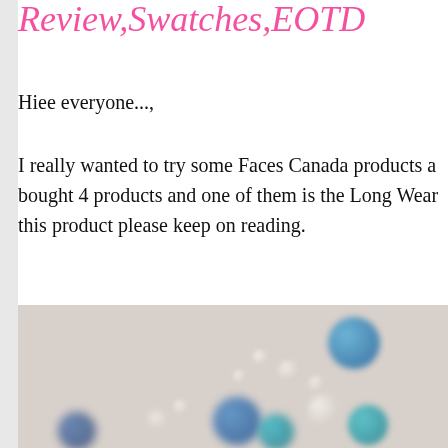Review,Swatches,EOTD
Hiee everyone...,
I really wanted to try some Faces Canada products a... bought 4 products and one of them is the Long Wear... this product please keep on reading.
[Figure (photo): Blurred photo showing small blue and white spherical objects scattered on a light beige/gray background.]